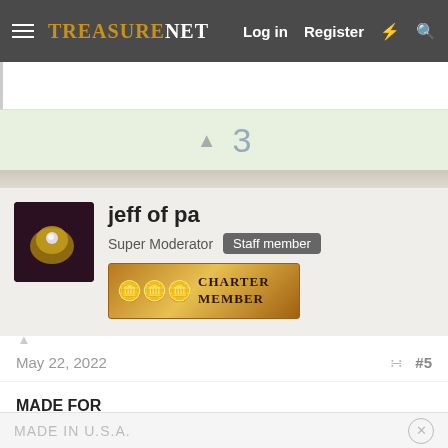TreasureNet  Log in  Register
3
jeff of pa
Super Moderator  Staff member
[Figure (illustration): Charter Member banner with gold coins]
May 22, 2022  #5
MADE FOR
COLGATE
JERSEY CITY
MADE IN U.S.A.